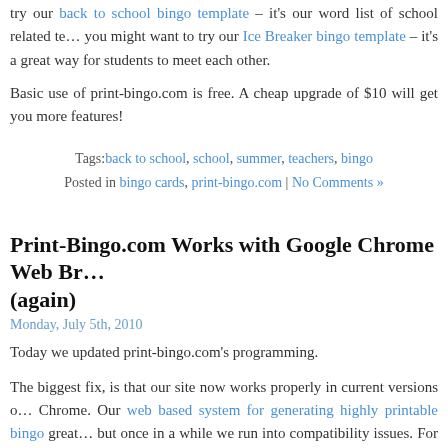try our back to school bingo template – it's our word list of school related terms. you might want to try our Ice Breaker bingo template – it's a great way for students to meet each other.
Basic use of print-bingo.com is free. A cheap upgrade of $10 will get you more features!
Tags: back to school, school, summer, teachers, bingo
Posted in bingo cards, print-bingo.com | No Comments »
Print-Bingo.com Works with Google Chrome Web Browser (again)
Monday, July 5th, 2010
Today we updated print-bingo.com's programming.
The biggest fix, is that our site now works properly in current versions of Chrome. Our web based system for generating highly printable bingo great… but once in a while we run into compatibility issues. For now, it's fixed and tested in current Firefox, Internet Explorer, Google Chrome, and Apple Safari browsers. Ironically, part of the programming fix was related to a compatibility fix for Mozilla browser from years back. Mozilla users, if you actually still exist, you need to use a different browser to use print-bingo.com now.
At the same time, we made live a feature that we wrote for a custom bingo job months back. All bingo cards within a single run are now guaranteed to be unique. Previously, it was entirely random if a card was duplicated in a run – b